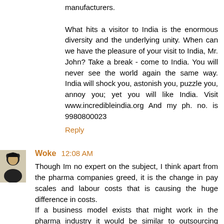manufacturers.

What hits a visitor to India is the enormous diversity and the underlying unity. When can we have the pleasure of your visit to India, Mr. John? Take a break - come to India. You will never see the world again the same way. India will shock you, astonish you, puzzle you, annoy you; yet you will like India. Visit www.incredibleindia.org And my ph. no. is 9980800023
Reply
Woke 12:08 AM
Though Im no expert on the subject, I think apart from the pharma companies greed, it is the change in pay scales and labour costs that is causing the huge difference in costs.
If a business model exists that might work in the pharma industry it would be similar to outsourcing software though the quality of the R&D would be hard to match.
Bollywood's lower cost in producing movies compared to Hollywood has nothing much to do with its business model